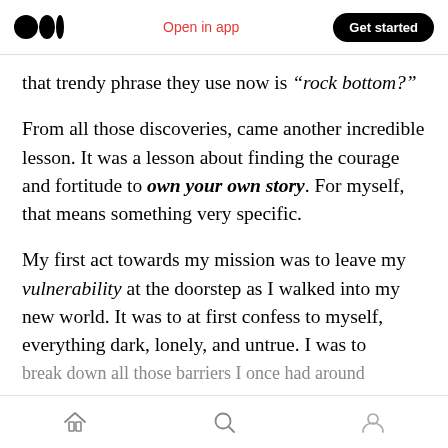Medium logo | Open in app | Get started
that trendy phrase they use now is “rock bottom?”
From all those discoveries, came another incredible lesson. It was a lesson about finding the courage and fortitude to own your own story. For myself, that means something very specific.
My first act towards my mission was to leave my vulnerability at the doorstep as I walked into my new world. It was to at first confess to myself, everything dark, lonely, and untrue. I was to break down all those barriers I once had around
Home | Search | Profile